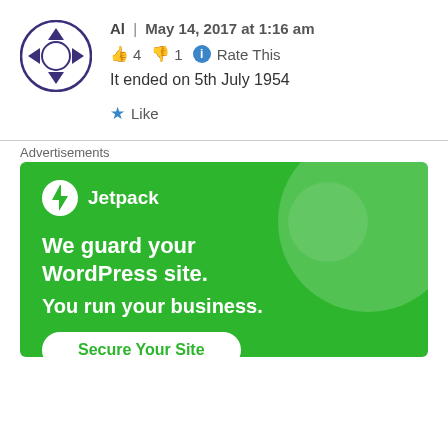[Figure (logo): Circular avatar/icon with blue/purple geometric diamond shapes arranged in a ring on white background with dark purple border]
Al | May 14, 2017 at 1:16 am
👍 4 👎 1 ℹ Rate This
It ended on 5th July 1954
★ Like
Advertisements
[Figure (infographic): Jetpack advertisement banner on green background. Shows Jetpack logo with lightning bolt icon, text 'We guard your WordPress site. You run your business.' and a white 'Secure Your Site' button. Decorative light green circular shapes in background.]